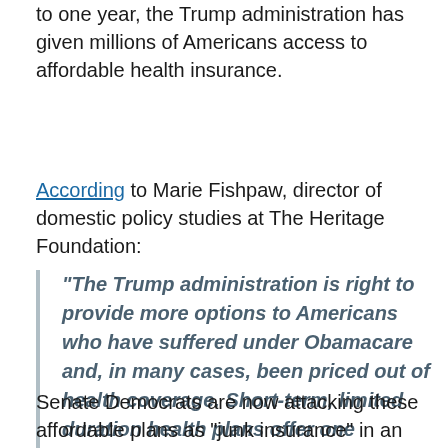to one year, the Trump administration has given millions of Americans access to affordable health insurance.
According to Marie Fishpaw, director of domestic policy studies at The Heritage Foundation:
“The Trump administration is right to provide more options to Americans who have suffered under Obamacare and, in many cases, been priced out of health coverage. Short-term, limited duration health plans offer one important alternative for people seeking coverage. Congress should preserve and expand choices, not restrict them.”
Senate Democrats are now attacking these affordable plans as “junk insurance” in an effort to